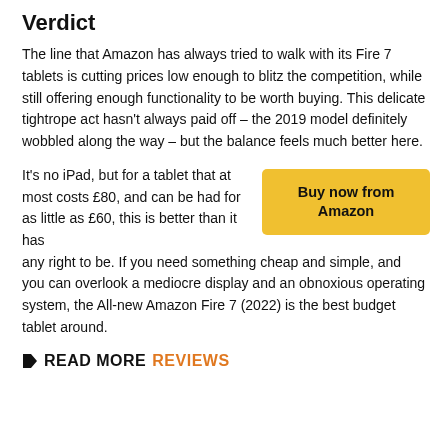Verdict
The line that Amazon has always tried to walk with its Fire 7 tablets is cutting prices low enough to blitz the competition, while still offering enough functionality to be worth buying. This delicate tightrope act hasn't always paid off – the 2019 model definitely wobbled along the way – but the balance feels much better here.
It's no iPad, but for a tablet that at most costs £80, and can be had for as little as £60, this is better than it has any right to be. If you need something cheap and simple, and you can overlook a mediocre display and an obnoxious operating system, the All-new Amazon Fire 7 (2022) is the best budget tablet around.
Buy now from Amazon
READ MORE REVIEWS